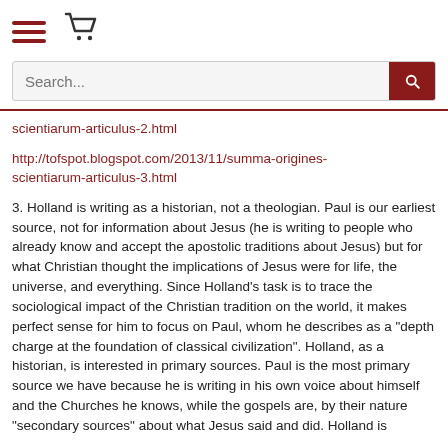[Figure (other): Website header with hamburger menu icon and shopping cart icon]
[Figure (other): Search bar with text 'Search...' and a dark red search button with magnifying glass icon]
scientiarum-articulus-2.html
http://tofspot.blogspot.com/2013/11/summa-origines-scientiarum-articulus-3.html
3. Holland is writing as a historian, not a theologian. Paul is our earliest source, not for information about Jesus (he is writing to people who already know and accept the apostolic traditions about Jesus) but for what Christian thought the implications of Jesus were for life, the universe, and everything. Since Holland's task is to trace the sociological impact of the Christian tradition on the world, it makes perfect sense for him to focus on Paul, whom he describes as a "depth charge at the foundation of classical civilization". Holland, as a historian, is interested in primary sources. Paul is the most primary source we have because he is writing in his own voice about himself and the Churches he knows, while the gospels are, by their nature "secondary sources" about what Jesus said and did. Holland is